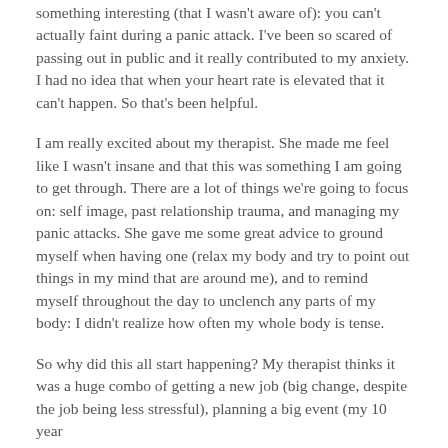something interesting (that I wasn't aware of): you can't actually faint during a panic attack. I've been so scared of passing out in public and it really contributed to my anxiety. I had no idea that when your heart rate is elevated that it can't happen. So that's been helpful.
I am really excited about my therapist. She made me feel like I wasn't insane and that this was something I am going to get through. There are a lot of things we're going to focus on: self image, past relationship trauma, and managing my panic attacks. She gave me some great advice to ground myself when having one (relax my body and try to point out things in my mind that are around me), and to remind myself throughout the day to unclench any parts of my body: I didn't realize how often my whole body is tense.
So why did this all start happening? My therapist thinks it was a huge combo of getting a new job (big change, despite the job being less stressful), planning a big event (my 10 year